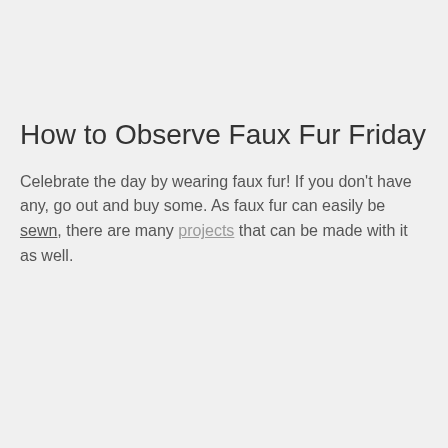How to Observe Faux Fur Friday
Celebrate the day by wearing faux fur! If you don't have any, go out and buy some. As faux fur can easily be sewn, there are many projects that can be made with it as well.